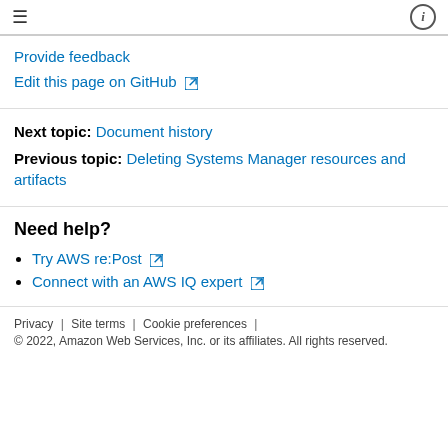≡  ⓘ
Provide feedback
Edit this page on GitHub ↗
Next topic: Document history
Previous topic: Deleting Systems Manager resources and artifacts
Need help?
Try AWS re:Post ↗
Connect with an AWS IQ expert ↗
Privacy | Site terms | Cookie preferences | © 2022, Amazon Web Services, Inc. or its affiliates. All rights reserved.